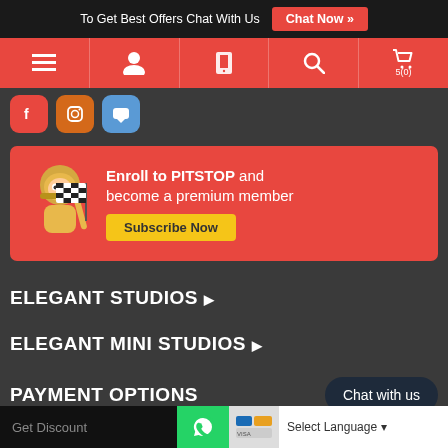To Get Best Offers Chat With Us  Chat Now »
[Figure (screenshot): Red navigation bar with hamburger menu, user, phone, search, and cart icons (5(0))]
[Figure (screenshot): Social media icons row: red Facebook, orange Instagram, blue chat icons]
[Figure (infographic): PITSTOP enrollment banner with racing mascot cartoon character holding a checkered flag. Text: Enroll to PITSTOP and become a premium member. Subscribe Now button.]
ELEGANT STUDIOS ▶
ELEGANT MINI STUDIOS ▶
PAYMENT OPTIONS
Chat with us
Get Discount  [WhatsApp]  [Payment logos]  Select Language ▼